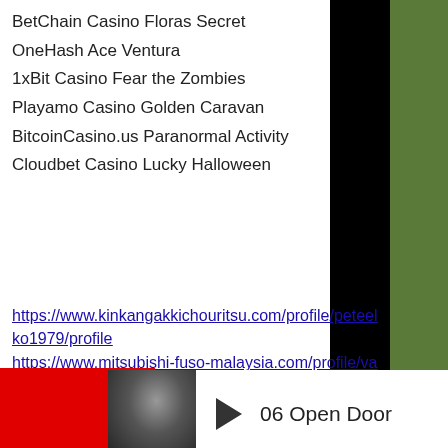BetChain Casino Floras Secret
OneHash Ace Ventura
1xBit Casino Fear the Zombies
Playamo Casino Golden Caravan
BitcoinCasino.us Paranormal Activity
Cloudbet Casino Lucky Halloween
https://www.kinkangakkichouritsu.com/profile/peteelko1979/profile
https://www.mitsubishi-fuso-malaysia.com/profile/vanessamoribayed1977/profile
https://www.therealexposureshow.com/profile/diedreruopoli1984/profile
https://dev.nodepositbonus.cc/community/profile/casinoen6678119/
[Figure (other): Media player showing thumbnail image and play button with track '06 Open Door']